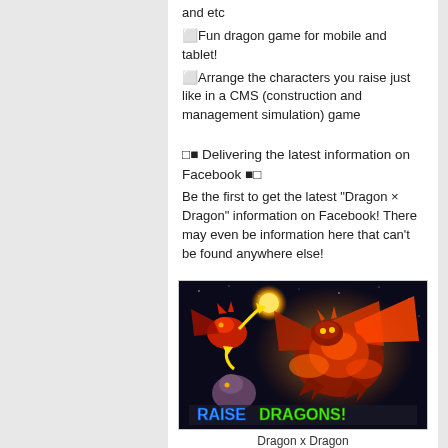and etc
⬜Fun dragon game for mobile and tablet!
⬜Arrange the characters you raise just like in a CMS (construction and management simulation) game
□■ Delivering the latest information on Facebook ■□
Be the first to get the latest “Dragon × Dragon” information on Facebook! There may even be information here that can’t be found anywhere else!
[Figure (illustration): Dragon x Dragon game promotional image showing dragons with 'RAISE DRAGONS!' text]
Dragon x Dragon